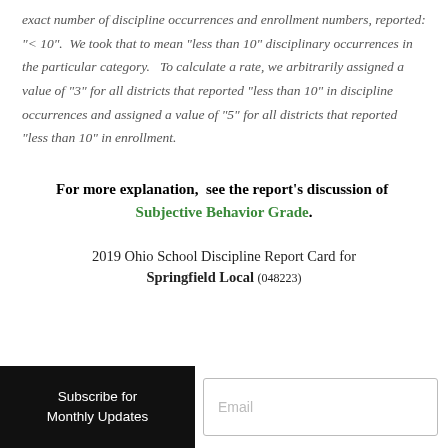exact number of discipline occurrences and enrollment numbers, reported: "< 10".  We took that to mean "less than 10" disciplinary occurrences in the particular category.   To calculate a rate, we arbitrarily assigned a value of "3" for all districts that reported "less than 10" in discipline occurrences and assigned a value of "5" for all districts that reported "less than 10" in enrollment.
For more explanation,  see the report's discussion of  Subjective Behavior Grade.
2019 Ohio School Discipline Report Card for Springfield Local (048223)
Subscribe for Monthly Updates